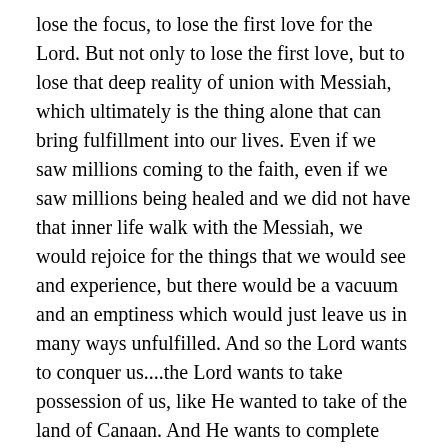lose the focus, to lose the first love for the Lord. But not only to lose the first love, but to lose that deep reality of union with Messiah, which ultimately is the thing alone that can bring fulfillment into our lives. Even if we saw millions coming to the faith, even if we saw millions being healed and we did not have that inner life walk with the Messiah, we would rejoice for the things that we would see and experience, but there would be a vacuum and an emptiness which would just leave us in many ways unfulfilled. And so the Lord wants to conquer us....the Lord wants to take possession of us, like He wanted to take of the land of Canaan. And He wants to complete this mystery of the Bride of Jew and gentile. And Jerusalem and Israel and the Messianic community are key to this mystery. And therefore, we need to see again, and with this I'm concluding. The Lord wants us to see all through the focus of the eyes and the voice of the Bridegroom. And if we do